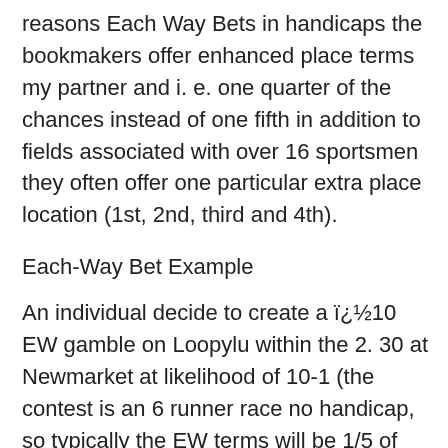reasons Each Way Bets in handicaps the bookmakers offer enhanced place terms my partner and i. e. one quarter of the chances instead of one fifth in addition to fields associated with over 16 sportsmen they often offer one particular extra place location (1st, 2nd, third and 4th).
Each-Way Bet Example
An individual decide to create a ï¿½10 EW gamble on Loopylu within the 2. 30 at Newmarket at likelihood of 10-1 (the contest is an 6 runner race no handicap, so typically the EW terms will be 1/5 of the chances for 1st, 2nd or 3rd location. )
You at once you will ï¿½ will take domestically the